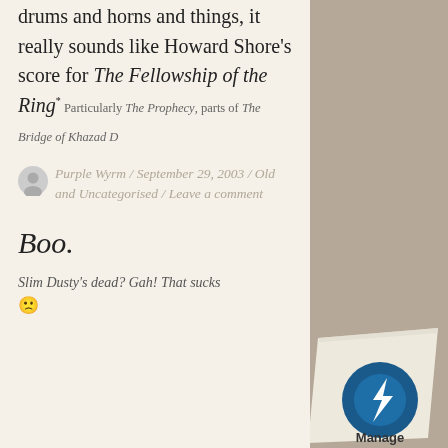drums and horns and things, it really sounds like Howard Shore's score for The Fellowship of the Ring*Particularly The Prophecy, parts of The Bridge of Khazad D
Purple Wyrm / September 29, 2003 / Old and Uncategorised / Leave a comment
Boo.
Slim Dusty's dead? Gah! That sucks 🙁
[Figure (logo): Manage logo/button in bottom right corner with paper curl effect]